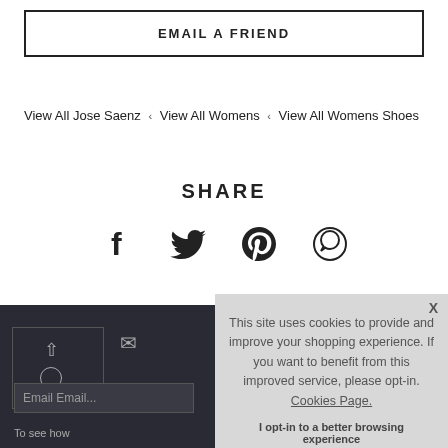EMAIL A FRIEND
View All Jose Saenz  ‹  View All Womens  ‹  View All Womens Shoes
SHARE
[Figure (other): Social sharing icons: Facebook, Twitter, Pinterest, WhatsApp]
[Figure (screenshot): Dark footer area with email subscription input field showing 'Email Email...' placeholder and 'To see how' text]
This site uses cookies to provide and improve your shopping experience. If you want to benefit from this improved service, please opt-in. Cookies Page.
I opt-in to a better browsing experience
ACCEPT COOKIES